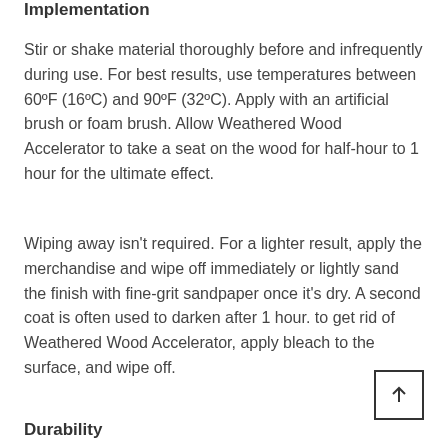Implementation
Stir or shake material thoroughly before and infrequently during use. For best results, use temperatures between 60ºF (16ºC) and 90ºF (32ºC). Apply with an artificial brush or foam brush. Allow Weathered Wood Accelerator to take a seat on the wood for half-hour to 1 hour for the ultimate effect.
Wiping away isn't required. For a lighter result, apply the merchandise and wipe off immediately or lightly sand the finish with fine-grit sandpaper once it's dry. A second coat is often used to darken after 1 hour. to get rid of Weathered Wood Accelerator, apply bleach to the surface, and wipe off.
Durability